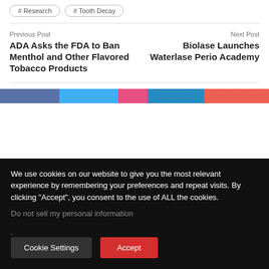# Research
# Tooth Decay
Previous Post
ADA Asks the FDA to Ban Menthol and Other Flavored Tobacco Products
Next Post
Biolase Launches Waterlase Perio Academy
We use cookies on our website to give you the most relevant experience by remembering your preferences and repeat visits. By clicking “Accept”, you consent to the use of ALL the cookies.
Do not sell my personal information.
Cookie Settings
Accept